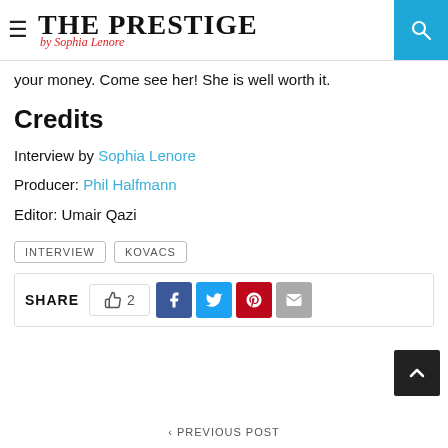THE PRESTIGE by Sophia Lenore
your money. Come see her! She is well worth it.
Credits
Interview by Sophia Lenore
Producer: Phil Halfmann
Editor: Umair Qazi
INTERVIEW   KOVACS
SHARE  👍 2  f  t  p  ✉
‹ PREVIOUS POST